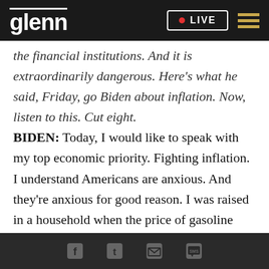glenn | LIVE
the financial institutions. And it is extraordinarily dangerous. Here's what he said, Friday, go Biden about inflation. Now, listen to this. Cut eight.
BIDEN: Today, I would like to speak with my top economic priority. Fighting inflation. I understand Americans are anxious. And they’re anxious for good reason. I was raised in a household when the price of gasoline rose precipitously. It was a discussion at the table. It made a difference. When food prices went up. But we’ve never seen anything like Putin’s tax on both food and gas. America should also understand
Social share icons: Facebook, Twitter, Email, SMS